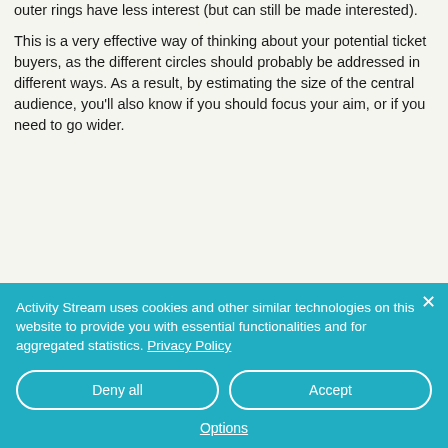outer rings have less interest (but can still be made interested).
This is a very effective way of thinking about your potential ticket buyers, as the different circles should probably be addressed in different ways. As a result, by estimating the size of the central audience, you'll also know if you should focus your aim, or if you need to go wider.
Activity Stream uses cookies and other similar technologies on this website to provide you with essential functionalities and for aggregated statistics. Privacy Policy

[Deny all] [Accept]

Options